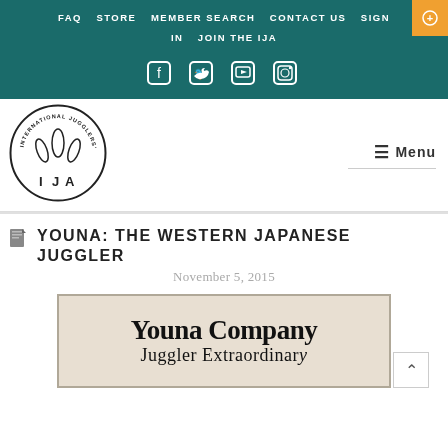FAQ  STORE  MEMBER SEARCH  CONTACT US  SIGN IN  JOIN THE IJA
[Figure (logo): Social media icons: Facebook, Twitter, YouTube, Instagram on teal background]
[Figure (logo): International Jugglers Association (IJA) circular logo with juggling pins and letters I J A]
YOUNA: THE WESTERN JAPANESE JUGGLER
November 5, 2015
[Figure (photo): Vintage advertisement image reading 'Youna Company Juggler Extraordinary']